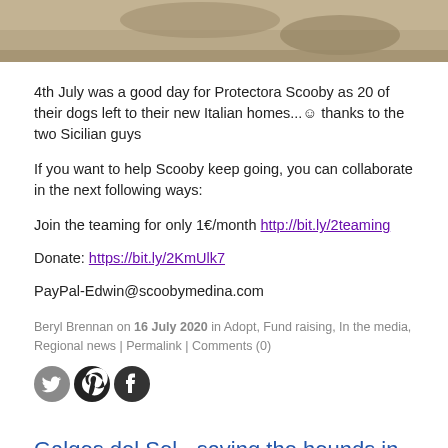[Figure (photo): Top portion of a photo showing dogs or people on sandy/dirt ground, cropped at top of page]
4th July was a good day for Protectora Scooby as 20 of their dogs left to their new Italian homes...☺ thanks to the two Sicilian guys
If you want to help Scooby keep going, you can collaborate in the next following ways:
Join the teaming for only 1€/month http://bit.ly/2teaming
Donate: https://bit.ly/2KmUlk7
PayPal-Edwin@scoobymedina.com
Beryl Brennan on 16 July 2020 in Adopt, Fund raising, In the media, Regional news | Permalink | Comments (0)
[Figure (illustration): Social media share icons: Twitter, Pinterest, Facebook]
Galgos del Sol - saving the hounds in Murcia